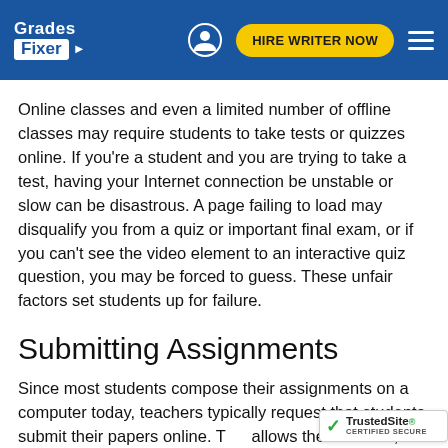Grades Fixer | HIRE WRITER NOW
Online classes and even a limited number of offline classes may require students to take tests or quizzes online. If you're a student and you are trying to take a test, having your Internet connection be unstable or slow can be disastrous. A page failing to load may disqualify you from a quiz or important final exam, or if you can't see the video element to an interactive quiz question, you may be forced to guess. These unfair factors set students up for failure.
Submitting Assignments
Since most students compose their assignments on a computer today, teachers typically request that students submit their papers online. T allows them to view, print, and comment o